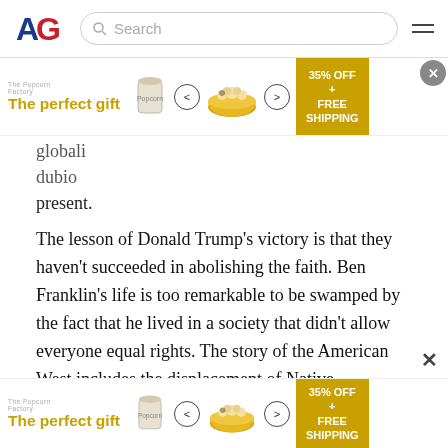[Figure (screenshot): AG (American Greatness) website navigation bar with logo, search box, and hamburger menu]
[Figure (infographic): Advertisement banner: 'The perfect gift' with popcorn product images, navigation arrows, and '35% OFF + FREE SHIPPING' offer badge, with close button]
globali... dubious... present.
The lesson of Donald Trump’s victory is that they haven’t succeeded in abolishing the faith. Ben Franklin’s life is too remarkable to be swamped by the fact that he lived in a society that didn’t allow everyone equal rights. The story of the American West includes the displacement of Native Americans, but the displacement doesn’t cancel the epic scope of the story. Greatness may be mixed with complications without losing its status. We don’t lose our appreciation for what Martin Luther King, Jr. did when we hear lesser details of his personal life.
[Figure (infographic): Bottom advertisement banner: 'The perfect gift' with popcorn product images, navigation arrows, and '35% OFF + FREE SHIPPING' offer badge, with X close button]